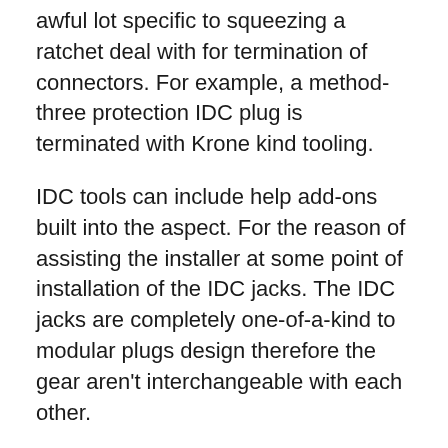awful lot specific to squeezing a ratchet deal with for termination of connectors. For example, a method-three protection IDC plug is terminated with Krone kind tooling.
IDC tools can include help add-ons built into the aspect. For the reason of assisting the installer at some point of installation of the IDC jacks. The IDC jacks are completely one-of-a-kind to modular plugs design therefore the gear aren't interchangeable with each other.
To view a few Ethernet tools and crimpers to match IDC jacks visit us these days.
Business